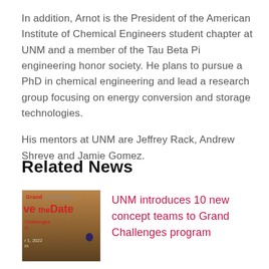In addition, Arnot is the President of the American Institute of Chemical Engineers student chapter at UNM and a member of the Tau Beta Pi engineering honor society. He plans to pursue a PhD in chemical engineering and lead a research group focusing on energy conversion and storage technologies.
His mentors at UNM are Jeffrey Rack, Andrew Shreve and Jamie Gomez.
Related News
[Figure (photo): Thumbnail image for Grand Challenges Save the Date event with desert landscape background and a hot air balloon]
UNM introduces 10 new concept teams to Grand Challenges program